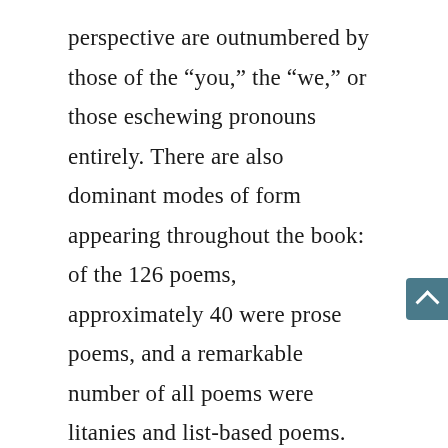perspective are outnumbered by those of the “you,” the “we,” or those eschewing pronouns entirely. There are also dominant modes of form appearing throughout the book: of the 126 poems, approximately 40 were prose poems, and a remarkable number of all poems were litanies and list-based poems. Those not in prose or litanies often took the form of an Armaetrout-ish column, and, especially in the second section of the text, the influence of Language poetry is overwhelming. This is not to say that any of these are necessarily bad poems, but that, in